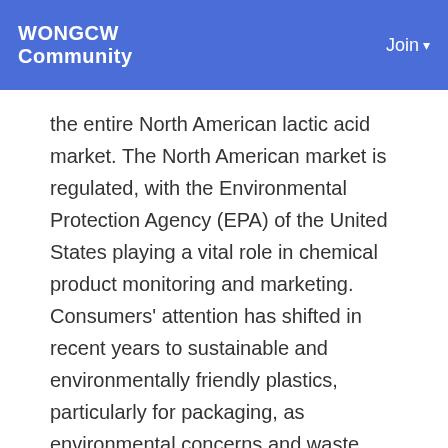WONGCW Community | Join
the entire North American lactic acid market. The North American market is regulated, with the Environmental Protection Agency (EPA) of the United States playing a vital role in chemical product monitoring and marketing. Consumers' attention has shifted in recent years to sustainable and environmentally friendly plastics, particularly for packaging, as environmental concerns and waste management difficulties have grown. As a result of these considerations, regulatory agencies such as the Environmental Protection Agency (EPA) are increasingly favouring biodegradable plastics and